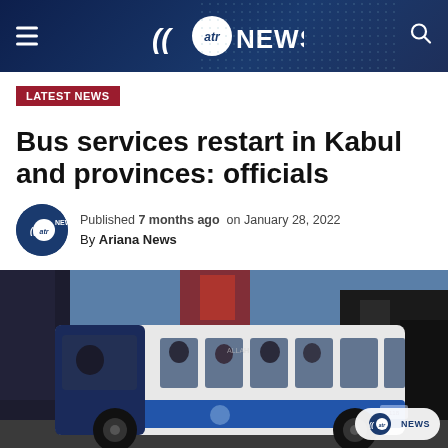ATR NEWS
LATEST NEWS
Bus services restart in Kabul and provinces: officials
Published 7 months ago on January 28, 2022
By Ariana News
[Figure (photo): A white and blue public city bus photographed on a street in Kabul, with passengers visible through the windows and buildings in the background.]